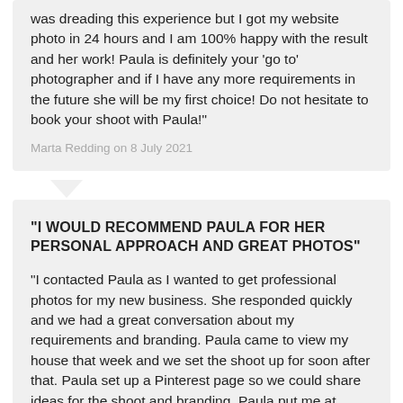was dreading this experience but I got my website photo in 24 hours and I am 100% happy with the result and her work! Paula is definitely your 'go to' photographer and if I have any more requirements in the future she will be my first choice! Do not hesitate to book your shoot with Paula!"
Marta Redding on 8 July 2021
"I WOULD RECOMMEND PAULA FOR HER PERSONAL APPROACH AND GREAT PHOTOS"
"I contacted Paula as I wanted to get professional photos for my new business. She responded quickly and we had a great conversation about my requirements and branding. Paula came to view my house that week and we set the shoot up for soon after that. Paula set up a Pinterest page so we could share ideas for the shoot and branding. Paula put me at perfect ease and